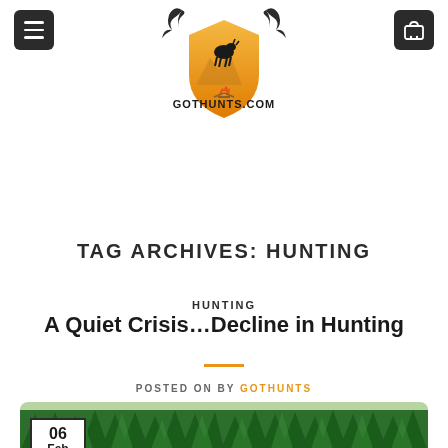[Figure (logo): GotHunts.com shield logo with antlers, mountain goat silhouette, orange background and campfire]
TAG ARCHIVES: HUNTING
HUNTING
A Quiet Crisis…Decline in Hunting
POSTED ON BY GOTHUNTS
[Figure (photo): Outdoor hunting scene with dense green forest of conifer trees in background, green meadow, and dark animal (moose or bear) partially visible at bottom. Date badge shows 06 Feb in top-left corner.]